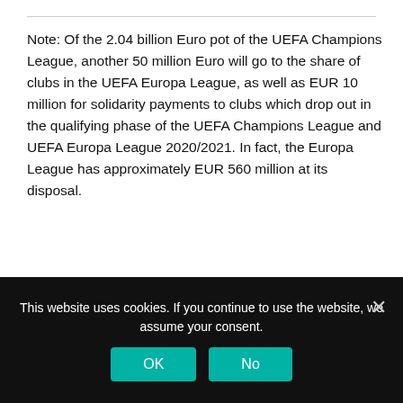Note: Of the 2.04 billion Euro pot of the UEFA Champions League, another 50 million Euro will go to the share of clubs in the UEFA Europa League, as well as EUR 10 million for solidarity payments to clubs which drop out in the qualifying phase of the UEFA Champions League and UEFA Europa League 2020/2021. In fact, the Europa League has approximately EUR 560 million at its disposal.
UEFA Champions League revenue: distribution of £1.95 billion
This website uses cookies. If you continue to use the website, we assume your consent.